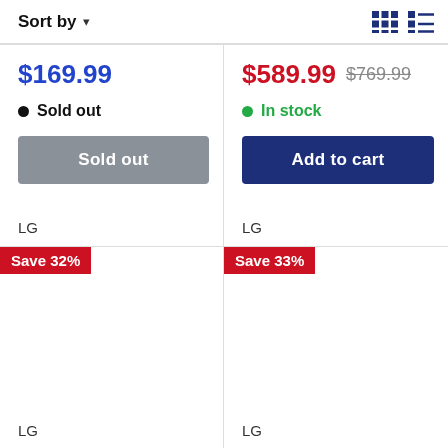Sort by ▾
$169.99 · Sold out
$589.99  $769.99 · In stock
Save 32%
Save 33%
LG
LG